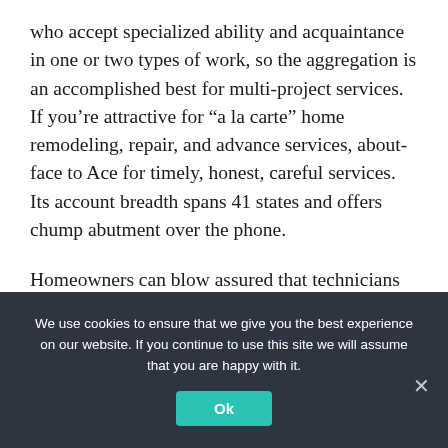who accept specialized ability and acquaintance in one or two types of work, so the aggregation is an accomplished best for multi-project services. If you’re attractive for “a la carte” home remodeling, repair, and advance services, about-face to Ace for timely, honest, careful services. Its account breadth spans 41 states and offers chump abutment over the phone.
Homeowners can blow assured that technicians accept complete accomplishments checks and
We use cookies to ensure that we give you the best experience on our website. If you continue to use this site we will assume that you are happy with it.